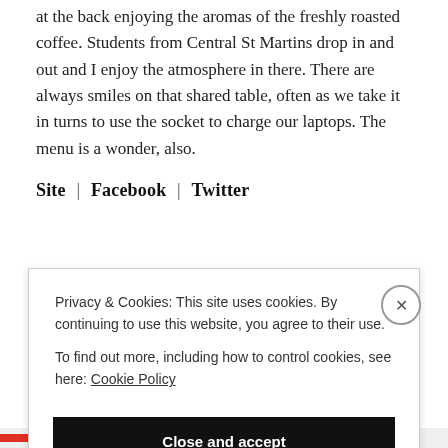at the back enjoying the aromas of the freshly roasted coffee. Students from Central St Martins drop in and out and I enjoy the atmosphere in there. There are always smiles on that shared table, often as we take it in turns to use the socket to charge our laptops. The menu is a wonder, also.
Site | Facebook | Twitter
Privacy & Cookies: This site uses cookies. By continuing to use this website, you agree to their use.
To find out more, including how to control cookies, see here: Cookie Policy
Close and accept